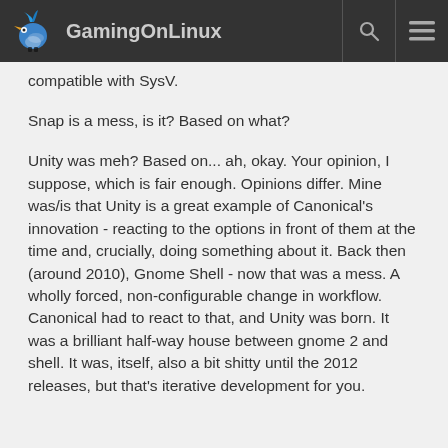GamingOnLinux
compatible with SysV.
Snap is a mess, is it? Based on what?
Unity was meh? Based on... ah, okay. Your opinion, I suppose, which is fair enough. Opinions differ. Mine was/is that Unity is a great example of Canonical's innovation - reacting to the options in front of them at the time and, crucially, doing something about it. Back then (around 2010), Gnome Shell - now that was a mess. A wholly forced, non-configurable change in workflow. Canonical had to react to that, and Unity was born. It was a brilliant half-way house between gnome 2 and shell. It was, itself, also a bit shitty until the 2012 releases, but that's iterative development for you.